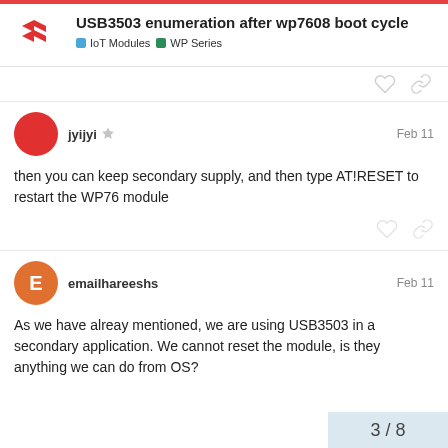USB3503 enumeration after wp7608 boot cycle
IoT Modules   WP Series
jyijyi   Feb 11
then you can keep secondary supply, and then type AT!RESET to restart the WP76 module
emailhareeshs   Feb 11
As we have alreay mentioned, we are using USB3503 in a secondary application. We cannot reset the module, is they anything we can do from OS?
3 / 8